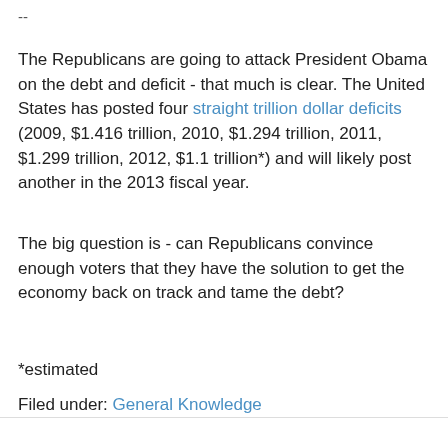--
The Republicans are going to attack President Obama on the debt and deficit - that much is clear. The United States has posted four straight trillion dollar deficits (2009, $1.416 trillion, 2010, $1.294 trillion, 2011, $1.299 trillion, 2012, $1.1 trillion*) and will likely post another in the 2013 fiscal year.
The big question is - can Republicans convince enough voters that they have the solution to get the economy back on track and tame the debt?
*estimated
Filed under: General Knowledge